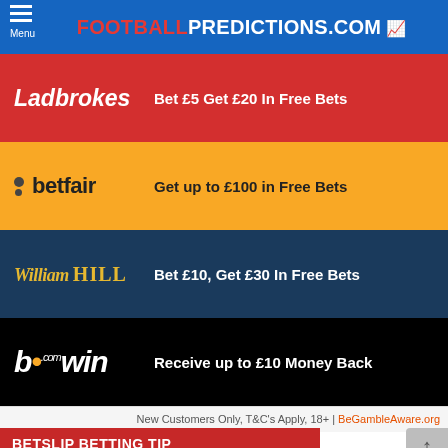FOOTBALLPREDICTIONS.COM
[Figure (infographic): Ladbrokes bookmaker promotional banner: red background, Ladbrokes logo, offer text 'Bet £5 Get £20 In Free Bets']
[Figure (infographic): Betfair bookmaker promotional banner: yellow/gold background, Betfair logo, offer text 'Get up to £100 in Free Bets']
[Figure (infographic): William Hill bookmaker promotional banner: dark navy background, William Hill logo, offer text 'Bet £10, Get £30 In Free Bets']
[Figure (infographic): bwin bookmaker promotional banner: black background, bwin logo, offer text 'Receive up to £10 Money Back']
New Customers Only, T&C's Apply, 18+ | BeGambleAware.org
BETSLIP BETTING TIP
| Bet | Odds |
| --- | --- |
| Real Madrid to Win
Real Madrid v Real Betis | 1.51 |